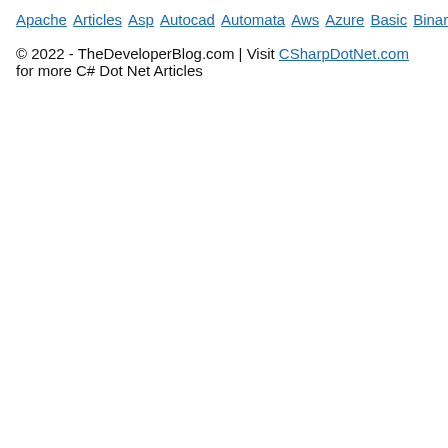Apache Articles Asp Autocad Automata Aws Azure Basic Binary Bitcoin Blockchain C Cassandra Change Coa Computer Control Cpp Create Creating C-Sharp Cyber Daa Data Dbms Deletion Devops Difference Discrete Es6 Ethical Examples Features Firebase Flutter Fs Git Go Hbase History Hive Hiveql How Html Idioms Insertion Installing Ios Java Joomla Js Kafka Kali Laravel Logical Machine Matlab Matrix Mongodb Mysql One Opencv Oracle Ordering Os Pandas Php Pig Pl Postgresql Powershell Prepositions Program Python React Ruby Scala Selecting Selenium Sentence Seo Sharepoint Software Spellings Spotting Spring Sql Sqlite Sqoop Svn Swift Synonyms Talend Testng Types Uml Unity Vbnet Verbal Webdriver What Wpf
© 2022 - TheDeveloperBlog.com | Visit CSharpDotNet.com for more C# Dot Net Articles